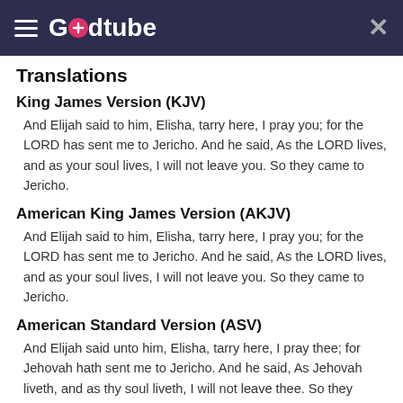Godtube
Translations
King James Version (KJV)
And Elijah said to him, Elisha, tarry here, I pray you; for the LORD has sent me to Jericho. And he said, As the LORD lives, and as your soul lives, I will not leave you. So they came to Jericho.
American King James Version (AKJV)
And Elijah said to him, Elisha, tarry here, I pray you; for the LORD has sent me to Jericho. And he said, As the LORD lives, and as your soul lives, I will not leave you. So they came to Jericho.
American Standard Version (ASV)
And Elijah said unto him, Elisha, tarry here, I pray thee; for Jehovah hath sent me to Jericho. And he said, As Jehovah liveth, and as thy soul liveth, I will not leave thee. So they came to Jericho.
Basic English Translation (BBE)